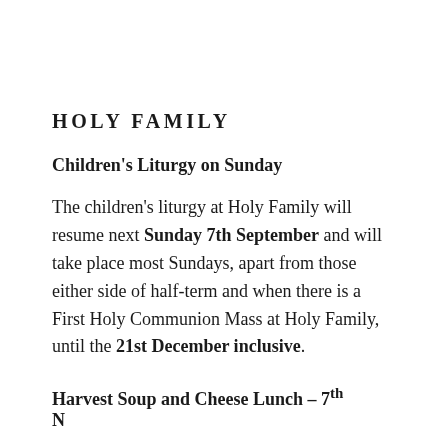HOLY FAMILY
Children's Liturgy on Sunday
The children's liturgy at Holy Family will resume next Sunday 7th September and will take place most Sundays, apart from those either side of half-term and when there is a First Holy Communion Mass at Holy Family, until the 21st December inclusive.
Harvest Soup and Cheese Lunch – 7th November